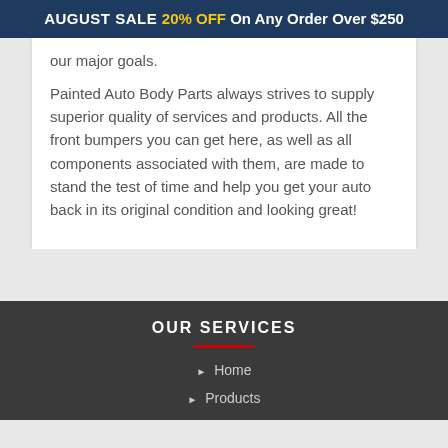AUGUST SALE 20% OFF On Any Order Over $250
our major goals.
Painted Auto Body Parts always strives to supply superior quality of services and products. All the front bumpers you can get here, as well as all components associated with them, are made to stand the test of time and help you get your auto back in its original condition and looking great!
OUR SERVICES
Home
Products